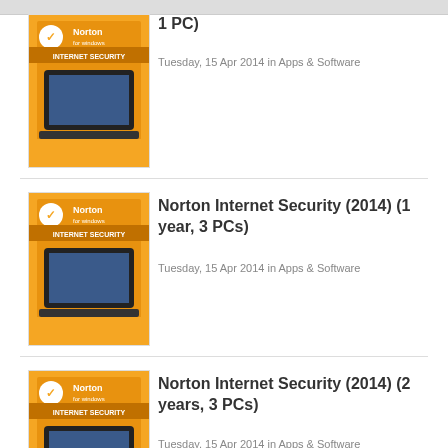[Figure (photo): Norton Internet Security product box - yellow/orange packaging with Norton logo and laptop image, partially visible at top]
1 PC)
Tuesday, 15 Apr 2014 in Apps & Software
[Figure (photo): Norton Internet Security product box - yellow/orange packaging with Norton logo and laptop image]
Norton Internet Security (2014) (1 year, 3 PCs)
Tuesday, 15 Apr 2014 in Apps & Software
[Figure (photo): Norton Internet Security product box - yellow/orange packaging with Norton logo and laptop image]
Norton Internet Security (2014) (2 years, 3 PCs)
Tuesday, 15 Apr 2014 in Apps & Software
1  2  3  4  5 of 5 >
HWZ Coupons
Stay Updated
Connect with us and receive the latest news and promotions from HardwareZone